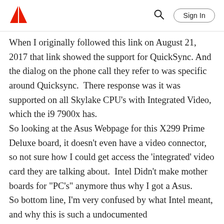Adobe | Sign In
When I originally followed this link on August 21, 2017 that link showed the support for QuickSync. And the dialog on the phone call they refer to was specific around Quicksync.  There response was it was supported on all Skylake CPU's with Integrated Video, which the i9 7900x has.
So looking at the Asus Webpage for this X299 Prime Deluxe board, it doesn't even have a video connector, so not sure how I could get access the 'integrated' video card they are talking about.  Intel Didn't make mother boards for "PC's" anymore thus why I got a Asus.
So bottom line, I'm very confused by what Intel meant, and why this is such a undocumented feature with lack of any written word on the matter.